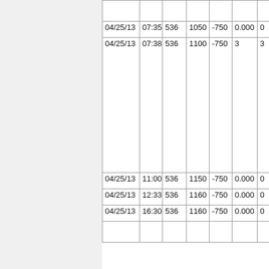| Date | Time | Col3 | Col4 | Col5 | Col6 | Col7 |
| --- | --- | --- | --- | --- | --- | --- |
|  |  |  |  |  |  |  |
| 04/25/13 | 07:35 | 536 | 1050 | -750 | 0.000 | 0 |
|  |  |  |  |  |  |  |
| 04/25/13 | 07:38 | 536 | 1100 | -750 | 3 | 3 |
|  |  |  |  |  |  |  |
| 04/25/13 | 11:00 | 536 | 1150 | -750 | 0.000 | 0 |
| 04/25/13 | 12:33 | 536 | 1160 | -750 | 0.000 | 0 |
| 04/25/13 | 16:30 | 536 | 1160 | -750 | 0.000 | 0 |
|  |  |  |  |  |  |  |